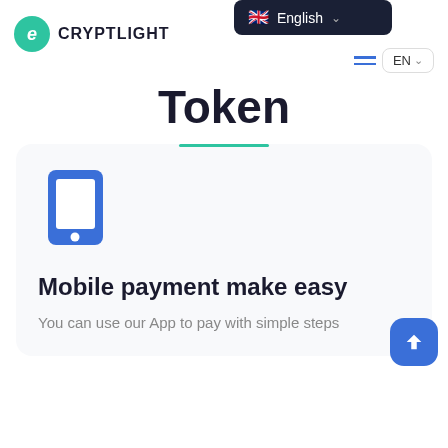CRYPTLIGHT
Token
[Figure (illustration): Blue smartphone/mobile phone icon]
Mobile payment make easy
You can use our App to pay with simple steps